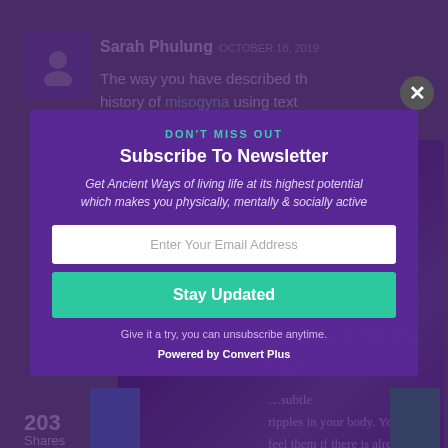[Figure (screenshot): Background screenshot of a web page showing a comment by Sarah Phulung dated October 18, 2019, with partial article text about Mudra class, share count of 203, and a blue bar element.]
DON'T MISS OUT
Subscribe To Newsletter
Get Ancient Ways of living life at its highest potential which makes you physically, mentally & socially active
Enter Your Email Address
Stay Updated
Give it a try, you can unsubscribe anytime.
Powered by Convert Plus